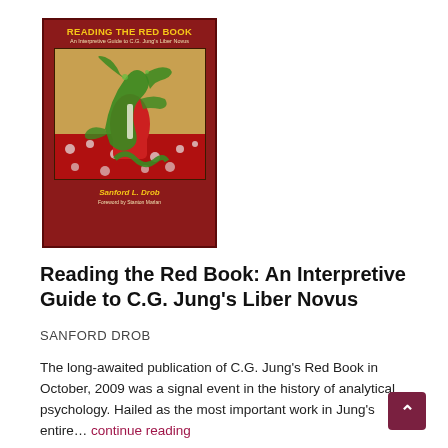[Figure (illustration): Book cover of 'Reading the Red Book: An Interpretive Guide to C.G. Jung's Liber Novus' by Sanford L. Drob. Red cover with gold title text, central illustration of green serpentine figures against a golden/red background. Author name in gold italic text at bottom with foreword credit.]
Reading the Red Book: An Interpretive Guide to C.G. Jung's Liber Novus
SANFORD DROB
The long-awaited publication of C.G. Jung's Red Book in October, 2009 was a signal event in the history of analytical psychology. Hailed as the most important work in Jung's entire… continue reading